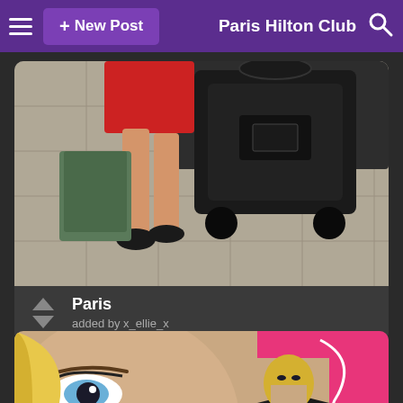+ New Post   Paris Hilton Club
[Figure (photo): Photo of legs in red dress with black handbag on tiled floor, viewed from above]
Paris
added by x_ellie_x
[Figure (photo): Composite photo of Paris Hilton close-up face on left and Paris Hilton in black dress with pink promotional banner reading 'Scopri la' and 'Discover' on right]